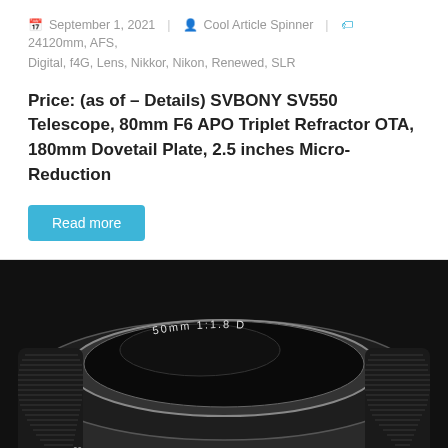September 1, 2021  Cool Article Spinner  24120mm, AFS, Digital, f4G, Lens, Nikkor, Nikon, Renewed, SLR
Price: (as of – Details) SVBONY SV550 Telescope, 80mm F6 APO Triplet Refractor OTA, 180mm Dovetail Plate, 2.5 inches Micro-Reduction
Read more
[Figure (photo): Close-up photograph of a Nikon 50mm 1:1.8 D camera lens, viewed from the front at an angle, showing the focus ring with distance markings (ft, 20, 7, 15, 4, 3, 25, 1) and the ribbed barrel. The lens is black with gold/yellow markings.]